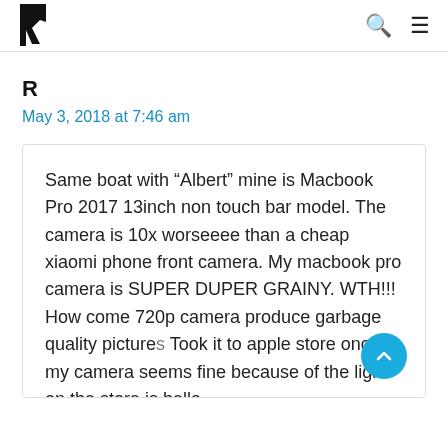R [logo] [search icon] [menu icon]
R
May 3, 2018 at 7:46 am
Same boat with “Albert” mine is Macbook Pro 2017 13inch non touch bar model. The camera is 10x worseeee than a cheap xiaomi phone front camera. My macbook pro camera is SUPER DUPER GRAINY. WTH!!! How come 720p camera produce garbage quality pictures. Took it to apple store once my camera seems fine because of the light on the store is hella